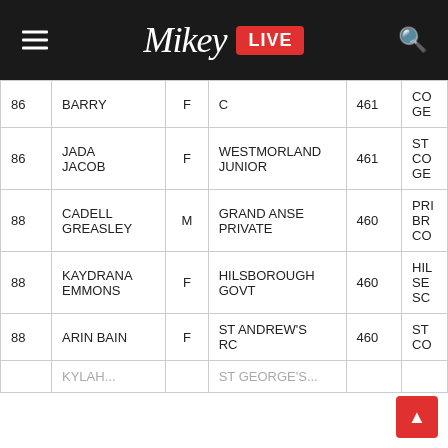Mikey LIVE
| Rank | Name | Sex | School | Score |  |
| --- | --- | --- | --- | --- | --- |
| 86 | BARRY | F | C | 461 | CO GE |
| 86 | JADA JACOB | F | WESTMORLAND JUNIOR | 461 | ST CO GE |
| 88 | CADELL GREASLEY | M | GRAND ANSE PRIVATE | 460 | PRI BR CO |
| 88 | KAYDRANA EMMONS | F | HILSBOROUGH GOVT | 460 | HIL SE SC |
| 88 | ARIN BAIN | F | ST ANDREW'S RC | 460 | ST CO |
|  | KYLAH... |  | ST GEORGE'S... |  |  |